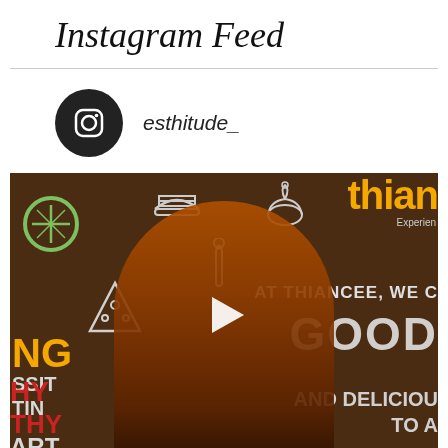Instagram Feed
esthitude_
[Figure (photo): Instagram video post showing a woman in an orange dress posing in front of a food banner backdrop with food illustrations. A white play button triangle is overlaid on the center of the image. The banner reads 'AT THIANCEE, WE C... GOOOO... AND DELICIOUS... TO A...' with orange and white text on a brown background.]